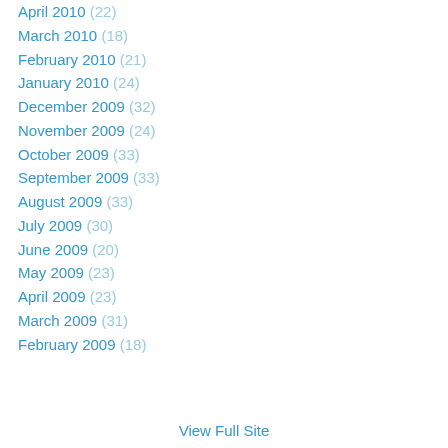April 2010 (22)
March 2010 (18)
February 2010 (21)
January 2010 (24)
December 2009 (32)
November 2009 (24)
October 2009 (33)
September 2009 (33)
August 2009 (33)
July 2009 (30)
June 2009 (20)
May 2009 (23)
April 2009 (23)
March 2009 (31)
February 2009 (18)
View Full Site